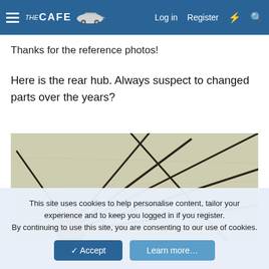THE CAFE — Log in  Register
Thanks for the reference photos!
Here is the rear hub. Always suspect to changed parts over the years?
[Figure (photo): Close-up photograph of a bicycle rear hub area showing wheel spokes radiating from a rusty/aged hub, against a light background. The hub centre is visible with dark metal spokes crossing in various directions.]
This site uses cookies to help personalise content, tailor your experience and to keep you logged in if you register.
By continuing to use this site, you are consenting to our use of cookies.